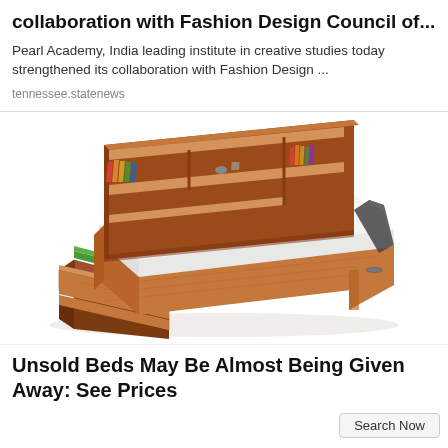collaboration with Fashion Design Council of...
Pearl Academy, India leading institute in creative studies today strengthened its collaboration with Fashion Design ...
tennessee.statenews
[Figure (photo): A wooden storage bed with bookshelf headboard and pull-out drawers underneath, shown in isometric perspective view on white background.]
Unsold Beds May Be Almost Being Given Away: See Prices